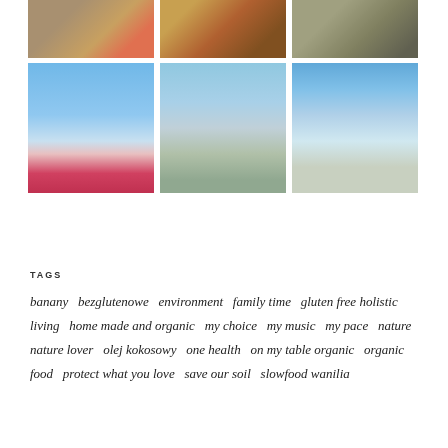[Figure (photo): Grid of 6 nature photographs: top row shows colorful objects in sand, stacked logs/seed pods in red shelf, stone pathway through trees; bottom row shows tulips and lake view, calm water with dock, cloudy sky over shoreline]
TAGS
banany  bezglutenowe  environment  family time  gluten free  holistic living  home made and organic  my choice  my music  my pace  nature  nature lover  olej kokosowy  one health  on my table  organic  organic food  protect what you love  save our soil  slowfood  wanilia